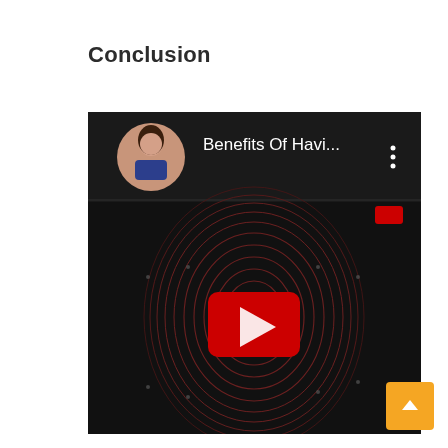Conclusion
[Figure (screenshot): YouTube video thumbnail showing 'Benefits Of Havi...' with a fingerprint graphic on a dark background and a red play button in the center. A circular profile photo of a woman appears in the top left corner of the video player.]